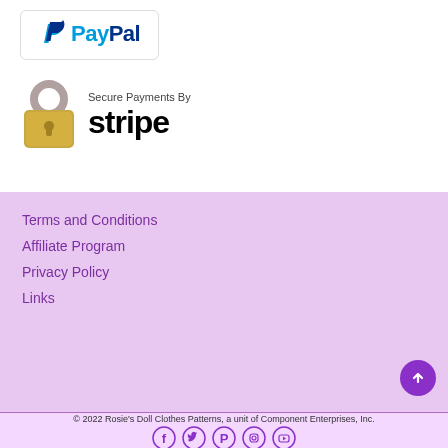[Figure (logo): PayPal logo inside a bordered box]
[Figure (logo): Secure Payments By Stripe logo with padlock icon]
Terms and Conditions
Affiliate Program
Privacy Policy
Links
© 2022 Rosie's Doll Clothes Patterns, a unit of Component Enterprises, Inc.
[Figure (infographic): Social media icons: Facebook, Twitter, Pinterest, Instagram, YouTube]